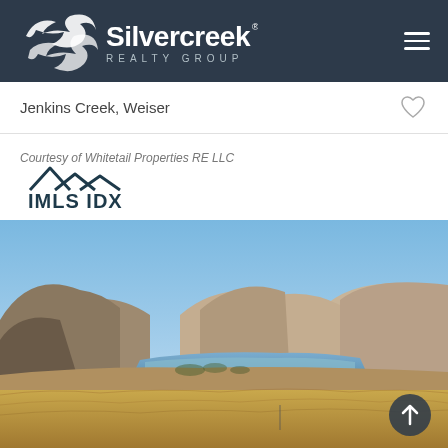[Figure (logo): Silvercreek Realty Group logo with stylized S icon and company name on dark navy background, with hamburger menu icon on the right]
Jenkins Creek, Weiser
Courtesy of Whitetail Properties RE LLC
[Figure (logo): IMLS IDX logo with mountain peaks icon above bold text IMLS IDX]
[Figure (photo): Landscape photo showing rolling golden grass hills in the foreground, a lake or reservoir in the middle distance, surrounded by brown mountain hills under a clear blue sky]